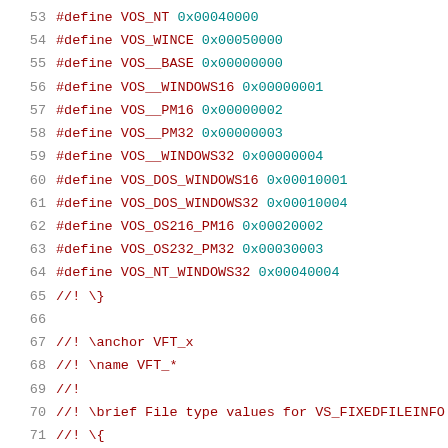53  #define VOS_NT 0x00040000
54  #define VOS_WINCE 0x00050000
55  #define VOS__BASE 0x00000000
56  #define VOS__WINDOWS16 0x00000001
57  #define VOS__PM16 0x00000002
58  #define VOS__PM32 0x00000003
59  #define VOS__WINDOWS32 0x00000004
60  #define VOS_DOS_WINDOWS16 0x00010001
61  #define VOS_DOS_WINDOWS32 0x00010004
62  #define VOS_OS216_PM16 0x00020002
63  #define VOS_OS232_PM32 0x00030003
64  #define VOS_NT_WINDOWS32 0x00040004
65  //! \}
66  
67  //! \anchor VFT_x
68  //! \name VFT_*
69  //!
70  //! \brief File type values for VS_FIXEDFILEINFO
71  //! \{
72  #define VFT_UNKNOWN 0x00000000
73  #define VFT_APP 0x00000001
74  #define VFT_DLL 0x00000002